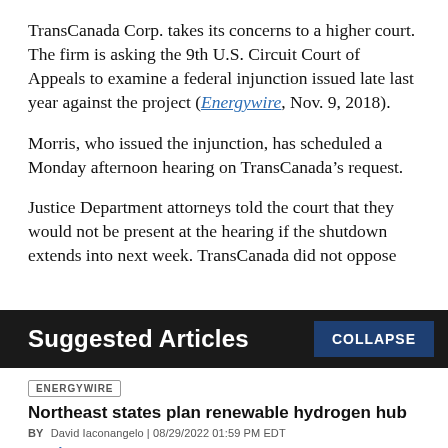TransCanada Corp. takes its concerns to a higher court. The firm is asking the 9th U.S. Circuit Court of Appeals to examine a federal injunction issued late last year against the project (Energywire, Nov. 9, 2018).
Morris, who issued the injunction, has scheduled a Monday afternoon hearing on TransCanada’s request.
Justice Department attorneys told the court that they would not be present at the hearing if the shutdown extends into next week. TransCanada did not oppose
Suggested Articles
COLLAPSE
ENERGYWIRE
Northeast states plan renewable hydrogen hub
BY David Iaconangelo | 08/29/2022 01:59 PM EDT
Read More >>
ENERGYWIRE
Trouble on pipeline’s path hits home for Manchin